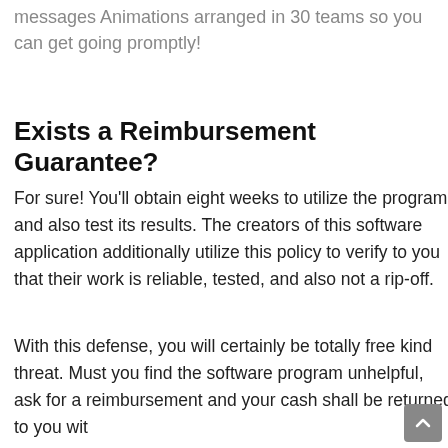messages Animations arranged in 30 teams so you can get going promptly!
Exists a Reimbursement Guarantee?
For sure! You'll obtain eight weeks to utilize the program and also test its results. The creators of this software application additionally utilize this policy to verify to you that their work is reliable, tested, and also not a rip-off.
With this defense, you will certainly be totally free kind threat. Must you find the software program unhelpful, ask for a reimbursement and your cash shall be returned to you wit…